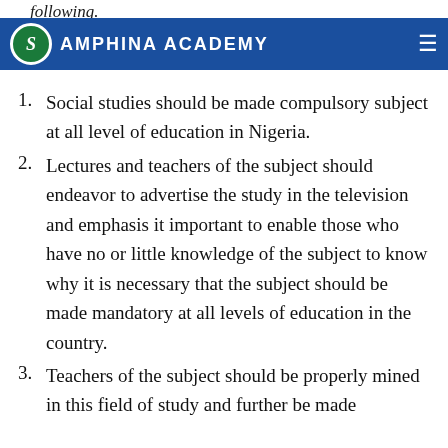following.
SAMPHINA ACADEMY
Social studies should be made compulsory subject at all level of education in Nigeria.
Lectures and teachers of the subject should endeavor to advertise the study in the television and emphasis it important to enable those who have no or little knowledge of the subject to know why it is necessary that the subject should be made mandatory at all levels of education in the country.
Teachers of the subject should be properly mined in this field of study and further be made